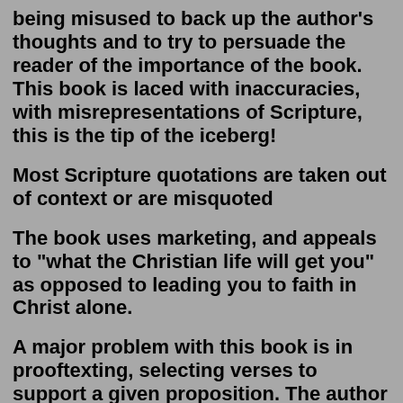being misused to back up the author's thoughts and to try to persuade the reader of the importance of the book. This book is laced with inaccuracies, with misrepresentations of Scripture, this is the tip of the iceberg!
Most Scripture quotations are taken out of context or are misquoted
The book uses marketing, and appeals to "what the Christian life will get you" as opposed to leading you to faith in Christ alone.
A major problem with this book is in prooftexting, selecting verses to support a given proposition. The author goes beyond prooftexting, however, by relying